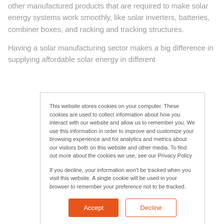other manufactured products that are required to make solar energy systems work smoothly, like solar inverters, batteries, combiner boxes, and racking and tracking structures.
Having a solar manufacturing sector makes a big difference in supplying affordable solar energy in different
This website stores cookies on your computer. These cookies are used to collect information about how you interact with our website and allow us to remember you. We use this information in order to improve and customize your browsing experience and for analytics and metrics about our visitors both on this website and other media. To find out more about the cookies we use, see our Privacy Policy

If you decline, your information won't be tracked when you visit this website. A single cookie will be used in your browser to remember your preference not to be tracked.